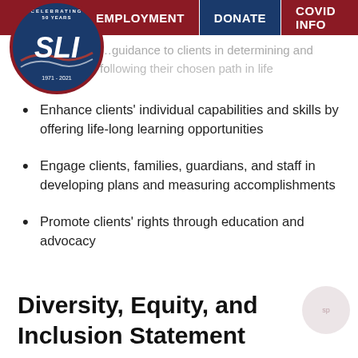EMPLOYMENT | DONATE | COVID INFO
[Figure (logo): SLI circular logo with blue background, red border, 'SLI' text, and '1971-2021' anniversary text]
…guidance to clients in determining and following their chosen path in life
Enhance clients' individual capabilities and skills by offering life-long learning opportunities
Engage clients, families, guardians, and staff in developing plans and measuring accomplishments
Promote clients' rights through education and advocacy
Diversity, Equity, and Inclusion Statement